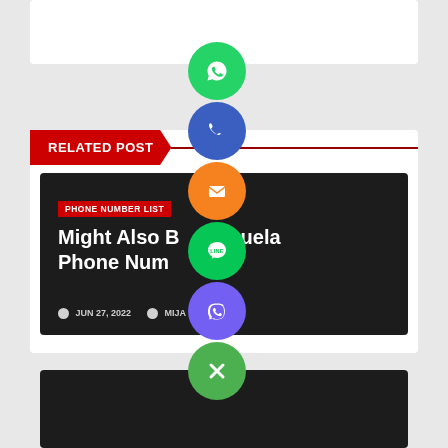[Figure (screenshot): Website screenshot showing a 'RELATED POST' section with a post card titled 'Might Also Be Venezuela Phone Number' dated JUN 27, 2022 by MIJA OKUL, overlaid with social sharing buttons (WhatsApp, Phone, Email, LINE, Viber, Close).]
RELATED POST
PHONE NUMBER LIST
Might Also Be Venezuela Phone Number
JUN 27, 2022  MIJA OKUL